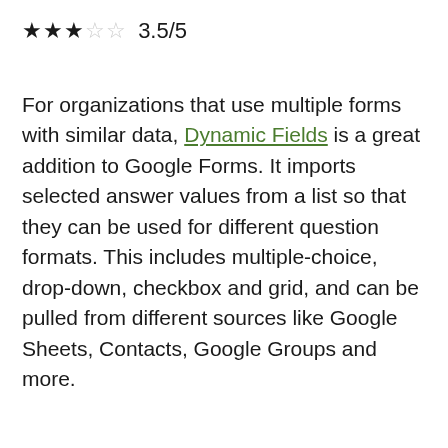★★★☆☆ 3.5/5
For organizations that use multiple forms with similar data, Dynamic Fields is a great addition to Google Forms. It imports selected answer values from a list so that they can be used for different question formats. This includes multiple-choice, drop-down, checkbox and grid, and can be pulled from different sources like Google Sheets, Contacts, Google Groups and more.